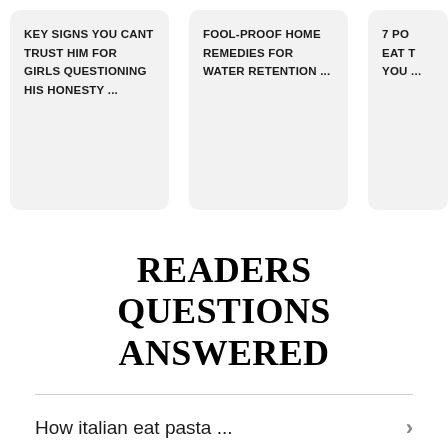KEY SIGNS YOU CANT TRUST HIM FOR GIRLS QUESTIONING HIS HONESTY ...
FOOL-PROOF HOME REMEDIES FOR WATER RETENTION ...
7 PO... EAT T... YOU ...
READERS QUESTIONS ANSWERED
How italian eat pasta ...